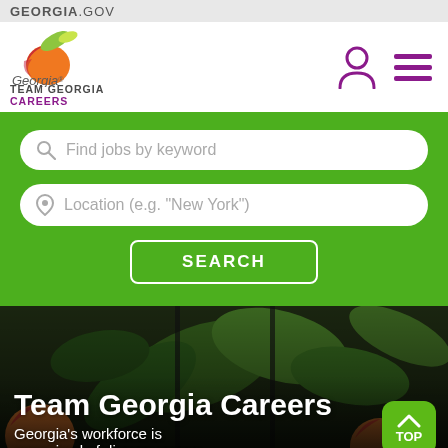GEORGIA.GOV
[Figure (logo): Georgia Team Georgia Careers logo with peach and leaf graphic]
Find jobs by keyword
Location (e.g. "New York")
SEARCH
[Figure (photo): Hero image showing hands holding peaches with green leaves background]
Team Georgia Careers
Georgia's workforce is comprised of diverse career